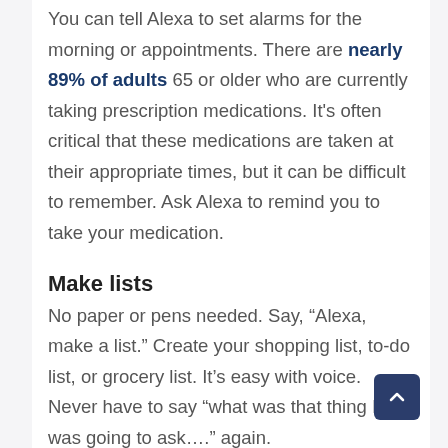You can tell Alexa to set alarms for the morning or appointments. There are nearly 89% of adults 65 or older who are currently taking prescription medications. It's often critical that these medications are taken at their appropriate times, but it can be difficult to remember. Ask Alexa to remind you to take your medication.
Make lists
No paper or pens needed. Say, “Alexa, make a list.” Create your shopping list, to-do list, or grocery list. It’s easy with voice. Never have to say “what was that thing I was going to ask….” again.